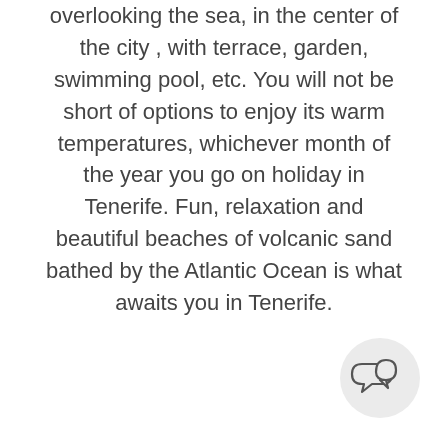overlooking the sea, in the center of the city , with terrace, garden, swimming pool, etc. You will not be short of options to enjoy its warm temperatures, whichever month of the year you go on holiday in Tenerife. Fun, relaxation and beautiful beaches of volcanic sand bathed by the Atlantic Ocean is what awaits you in Tenerife.
[Figure (illustration): A speech bubble / chat icon consisting of two overlapping speech bubbles outlined in dark gray, placed inside a light gray circle in the bottom-right area of the page.]